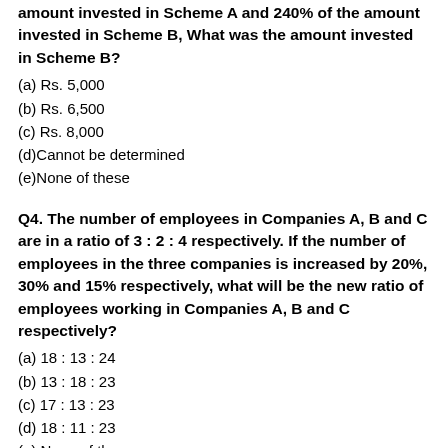amount invested in Scheme A and 240% of the amount invested in Scheme B, What was the amount invested in Scheme B?
(a) Rs. 5,000
(b) Rs. 6,500
(c) Rs. 8,000
(d)Cannot be determined
(e)None of these
Q4. The number of employees in Companies A, B and C are in a ratio of 3 : 2 : 4 respectively. If the number of employees in the three companies is increased by 20%, 30% and 15% respectively, what will be the new ratio of employees working in Companies A, B and C respectively?
(a) 18 : 13 : 24
(b) 13 : 18 : 23
(c) 17 : 13 : 23
(d) 18 : 11 : 23
(e) None of these